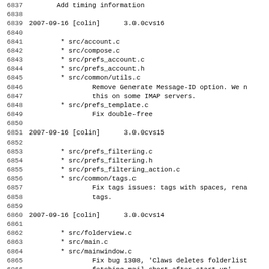6837        Add timing information
6838
6839 2007-09-16 [colin]      3.0.0cvs16
6840
6841         * src/account.c
6842         * src/compose.c
6843         * src/prefs_account.c
6844         * src/prefs_account.h
6845         * src/common/utils.c
6846                 Remove Generate Message-ID option. We n
6847                 this on some IMAP servers.
6848         * src/prefs_template.c
6849                 Fix double-free
6850
6851 2007-09-16 [colin]      3.0.0cvs15
6852
6853         * src/prefs_filtering.c
6854         * src/prefs_filtering.h
6855         * src/prefs_filtering_action.c
6856         * src/common/tags.c
6857                 Fix tags issues: tags with spaces, rena
6858                 tags.
6859
6860 2007-09-16 [colin]      3.0.0cvs14
6861
6862         * src/folderview.c
6863         * src/main.c
6864         * src/mainwindow.c
6865                 Fix bug 1308, 'Claws deletes folderlist
6866                 fetching mail short after start-up'
6867
6868 2007-09-16 [colin]      3.0.0cvs13